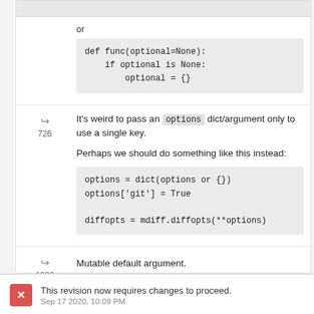or
def func(optional=None):
    if optional is None:
        optional = {}
It's weird to pass an options dict/argument only to use a single key.

Perhaps we should do something like this instead:
options = dict(options or {})
options['git'] = True

diffopts = mdiff.diffopts(**options)
Mutable default argument.
This revision now requires changes to proceed.
Sep 17 2020, 10:09 PM